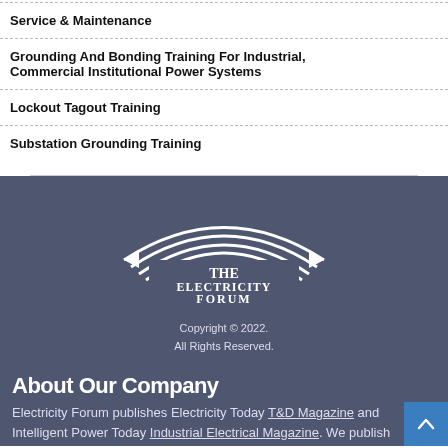Service & Maintenance
Grounding And Bonding Training For Industrial, Commercial Institutional Power Systems
Lockout Tagout Training
Substation Grounding Training
[Figure (logo): The Electricity Forum logo with arc/rainbow lines above text. Tagline: Content, Community, Connection]
Copyright © 2022. All Rights Reserved.
About Our Company
Electricity Forum publishes Electricity Today T&D Magazine and Intelligent Power Today Industrial Electrical Magazine. We publish